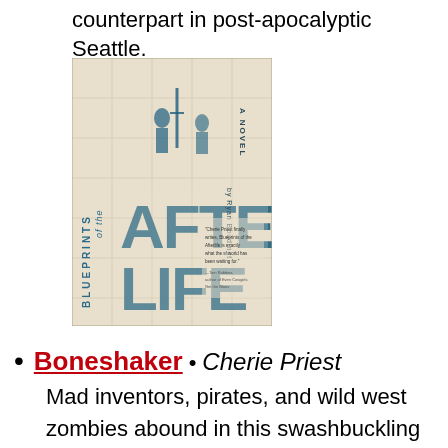counterpart in post-apocalyptic Seattle.
[Figure (photo): Book cover of 'Blueprints of the Afterlife' — A Novel by Ryan Boudinot. Blueprint-style cover with teal/blue lettering on aged paper background, featuring silhouettes of figures and a sword.]
Boneshaker • Cherie Priest
Mad inventors, pirates, and wild west zombies abound in this swashbuckling steampunk alternate-reality tale set in 1880's Seattle.